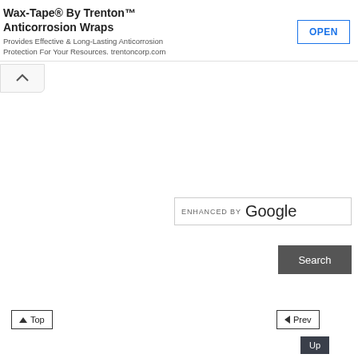Wax-Tape® By Trenton™ Anticorrosion Wraps
Provides Effective & Long-Lasting Anticorrosion Protection For Your Resources. trentoncorp.com
[Figure (screenshot): OPEN button with blue border and blue text]
[Figure (screenshot): Collapse/chevron up button]
[Figure (screenshot): ENHANCED BY Google search box]
[Figure (screenshot): Search button dark gray]
[Figure (screenshot): Top navigation button with triangle]
[Figure (screenshot): Prev navigation button with triangle]
[Figure (screenshot): Up navigation button dark]